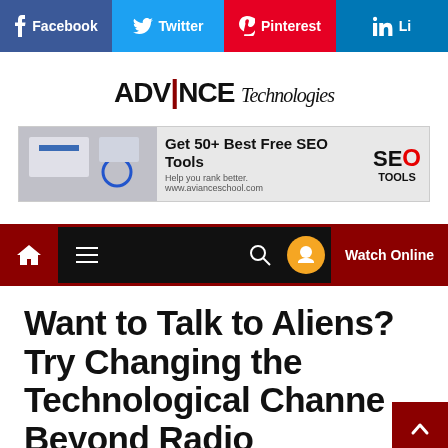Facebook  Twitter  Pinterest  LinkedIn
[Figure (logo): Advance Technologies logo with stylized text]
[Figure (screenshot): Advertisement banner: Get 50+ Best Free SEO Tools - Help you rank better. www.avianceschool.com | SEO TOOLS logo]
[Figure (screenshot): Navigation bar with home icon, hamburger menu, search icon, orange circle icon, and Watch Online button]
Want to Talk to Aliens? Try Changing the Technological Channel Beyond Radio